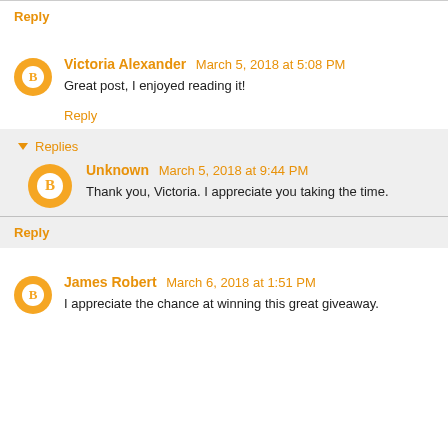Reply
Victoria Alexander  March 5, 2018 at 5:08 PM
Great post, I enjoyed reading it!
Reply
▾ Replies
Unknown  March 5, 2018 at 9:44 PM
Thank you, Victoria. I appreciate you taking the time.
Reply
James Robert  March 6, 2018 at 1:51 PM
I appreciate the chance at winning this great giveaway.